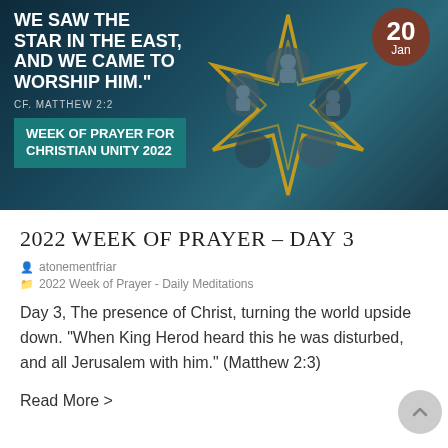[Figure (illustration): Week of Prayer for Christian Unity 2022 banner image. Dark teal/navy background with a gold star of Bethlehem graphic containing photos of people praying. White bold text reads '...WE SAW THE STAR IN THE EAST, AND WE CAME TO WORSHIP HIM.' CF. MATTHEW 2:2. A teal banner reads WEEK OF PRAYER FOR CHRISTIAN UNITY 2022. A dark red circular date badge in the upper right shows '20 Jan'.]
2022 Week of Prayer – Day 3
atonementfriar
2022 Week of Prayer - Daily Meditations
Day 3, The presence of Christ, turning the world upside down. "When King Herod heard this he was disturbed, and all Jerusalem with him." (Matthew 2:3)
Read More >